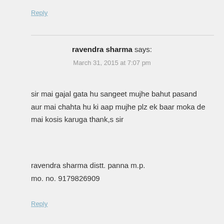Reply
ravendra sharma says:
March 31, 2015 at 7:07 pm
sir mai gajal gata hu sangeet mujhe bahut pasand aur mai chahta hu ki aap mujhe plz ek baar moka de mai kosis karuga thank,s sir
ravendra sharma distt. panna m.p.
mo. no. 9179826909
Reply